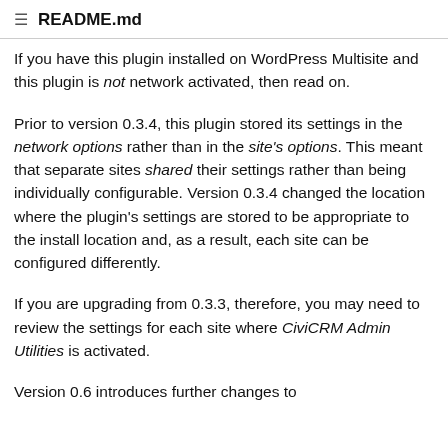README.md
If you have this plugin installed on WordPress Multisite and this plugin is not network activated, then read on.
Prior to version 0.3.4, this plugin stored its settings in the network options rather than in the site’s options. This meant that separate sites shared their settings rather than being individually configurable. Version 0.3.4 changed the location where the plugin's settings are stored to be appropriate to the install location and, as a result, each site can be configured differently.
If you are upgrading from 0.3.3, therefore, you may need to review the settings for each site where CiviCRM Admin Utilities is activated.
Version 0.6 introduces further changes to